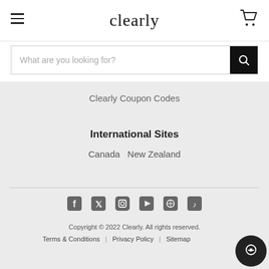clearly
What are you looking for?
Clearly Coupon Codes
International Sites
Canada   New Zealand
[Figure (infographic): Social media icons row: Facebook, Twitter, Instagram, YouTube, Pinterest, TikTok]
Copyright © 2022 Clearly. All rights reserved.
Terms & Conditions | Privacy Policy | Sitemap